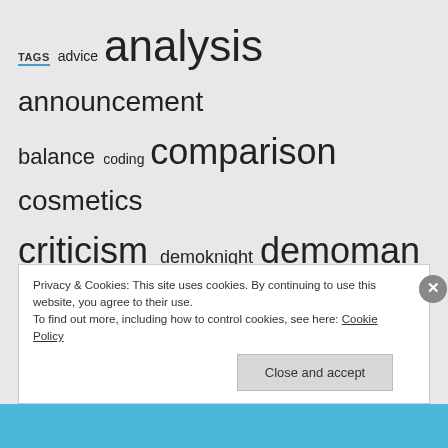TAGS advice analysis announcement balance coding comparison cosmetics criticism demoknight demoman engineer esports event Filler fun game design game mode game release glitches guide history killing floor Left 4 Dead 2 loadout maps medic melee mourning Not TF2 On Shooters overwatch payday payday 2 pokemon prose release pyro request review scout sniper soldier SPUF spuf of legend spy strategy Team Fortress 2 TFC update weapon weapons
Privacy & Cookies: This site uses cookies. By continuing to use this website, you agree to their use. To find out more, including how to control cookies, see here: Cookie Policy
Close and accept